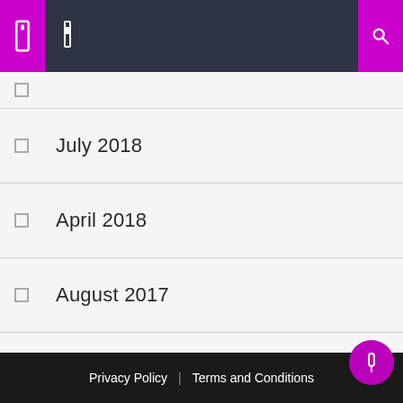Navigation header with menu icons
July 2018
April 2018
August 2017
July 2017
June 2017
July 2016
June 2009
Privacy Policy | Terms and Conditions